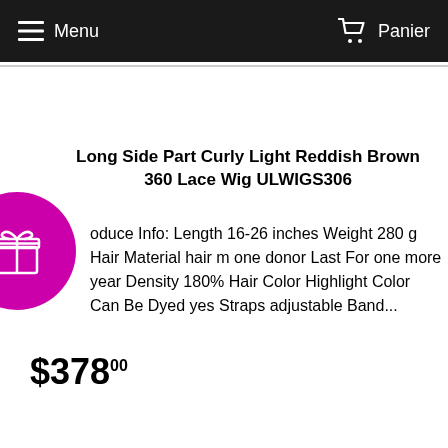Menu   Panier
Long Side Part Curly Light Reddish Brown 360 Lace Wig ULWIGS306
oduce Info: Length 16-26 inches Weight 280 g Hair Material hair m one donor Last For one more year Density 180% Hair Color Highlight Color Can Be Dyed yes Straps adjustable Band...
$378.00